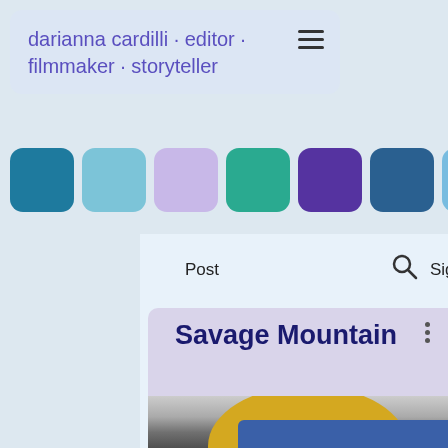darianna cardilli · editor · filmmaker · storyteller
[Figure (other): Color palette swatches: dark teal, light blue, light lavender, teal-green, deep purple, steel blue, sky blue, lilac]
Post
[Figure (other): Search icon (magnifying glass)]
Sign Up
Savage Mountain
[Figure (photo): Close-up photo of a person wearing a yellow helmet and dark goggles, dressed in a blue jacket, against a light background — climber or mountaineer portrait]